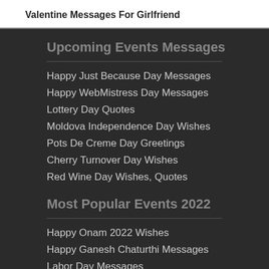Valentine Messages For Girlfriend
Upcoming Events Messages
Happy Just Because Day Messages
Happy WebMistress Day Messages
Lottery Day Quotes
Moldova Independence Day Wishes
Pots De Creme Day Greetings
Cherry Turnover Day Wishes
Red Wine Day Wishes, Quotes
Most Popular Events 2022
Happy Onam 2022 Wishes
Happy Ganesh Chaturthi Messages
Labor Day Messages